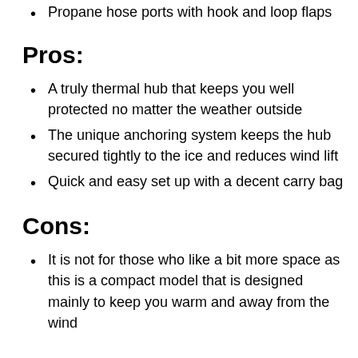Propane hose ports with hook and loop flaps
Pros:
A truly thermal hub that keeps you well protected no matter the weather outside
The unique anchoring system keeps the hub secured tightly to the ice and reduces wind lift
Quick and easy set up with a decent carry bag
Cons:
It is not for those who like a bit more space as this is a compact model that is designed mainly to keep you warm and away from the wind